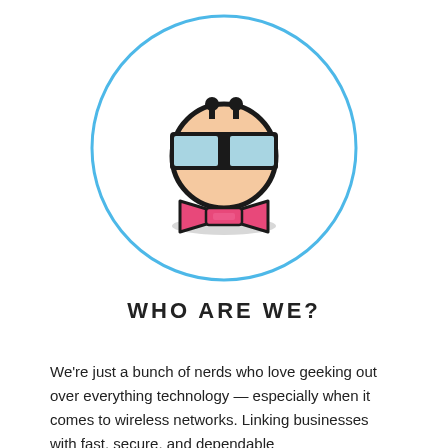[Figure (illustration): A cartoon nerd character icon inside a light blue circle. The character has a round peach-colored head with small antennae/hair on top, large rectangular glasses with light blue lenses, a black thick outline, and a pink bow tie below. There is a gray shadow ellipse at the bottom inside the circle.]
WHO ARE WE?
We're just a bunch of nerds who love geeking out over everything technology — especially when it comes to wireless networks. Linking businesses with fast, secure, and dependable